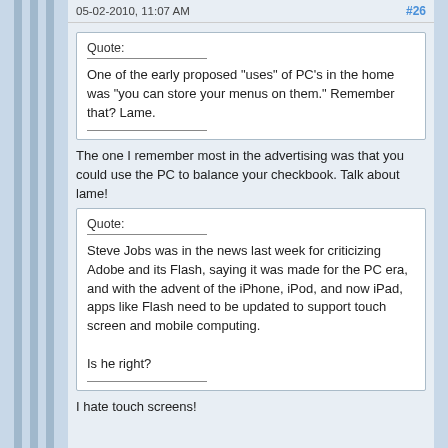05-02-2010, 11:07 AM   #26
Quote:
One of the early proposed "uses" of PC's in the home was "you can store your menus on them." Remember that? Lame.
The one I remember most in the advertising was that you could use the PC to balance your checkbook. Talk about lame!
Quote:
Steve Jobs was in the news last week for criticizing Adobe and its Flash, saying it was made for the PC era, and with the advent of the iPhone, iPod, and now iPad, apps like Flash need to be updated to support touch screen and mobile computing.

Is he right?
I hate touch screens!